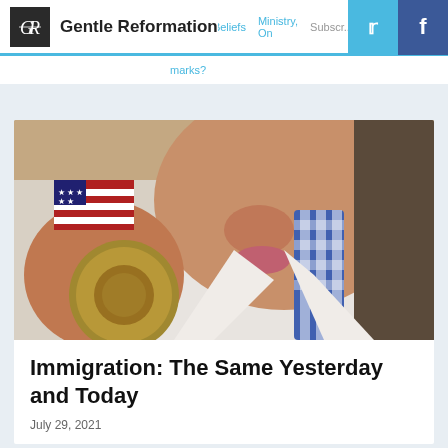Gentle Reformation
[Figure (photo): Close-up photo of a person holding a medal toward the camera. Person is wearing a white jacket and a blue and white checkered lanyard/ribbon. An American flag is visible in the background.]
Immigration: The Same Yesterday and Today
July 29, 2021